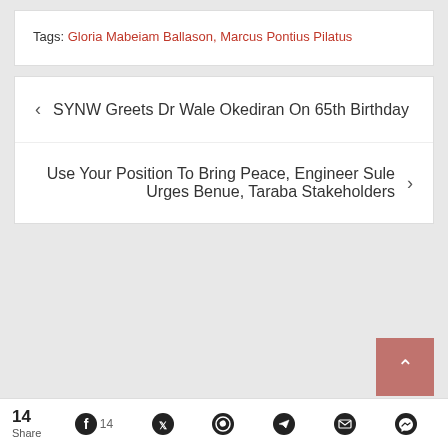Tags: Gloria Mabeiam Ballason, Marcus Pontius Pilatus
< SYNW Greets Dr Wale Okediran On 65th Birthday
Use Your Position To Bring Peace, Engineer Sule Urges Benue, Taraba Stakeholders >
14 Share
14 Share [Facebook] [Twitter] [WhatsApp] [Telegram] [Email] [Messenger]